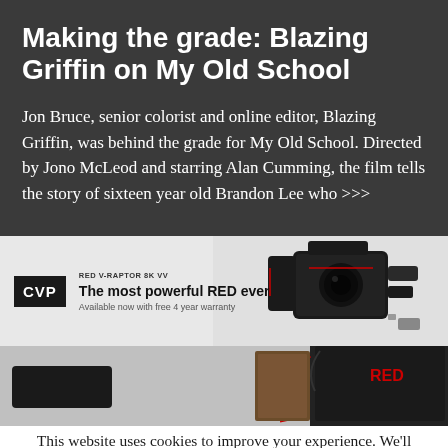Making the grade: Blazing Griffin on My Old School
Jon Bruce, senior colorist and online editor, Blazing Griffin, was behind the grade for My Old School. Directed by Jono McLeod and starring Alan Cumming, the film tells the story of sixteen year old Brandon Lee who >>>
[Figure (photo): CVP advertisement banner for RED V-RAPTOR 8K VV camera with text 'The most powerful RED ever. Available now with free 4 year warranty' and CVP logo alongside product image of RED camera equipment]
[Figure (photo): Partial view of RED camera equipment on grey background with a dark button/bar visible on the left]
This website uses cookies to improve your experience. We'll assume you're ok with this. I've read this